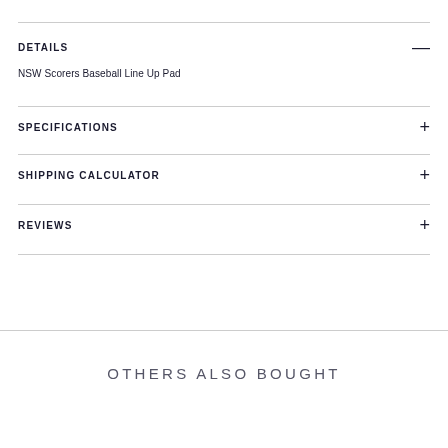DETAILS
NSW Scorers Baseball Line Up Pad
SPECIFICATIONS
SHIPPING CALCULATOR
REVIEWS
OTHERS ALSO BOUGHT